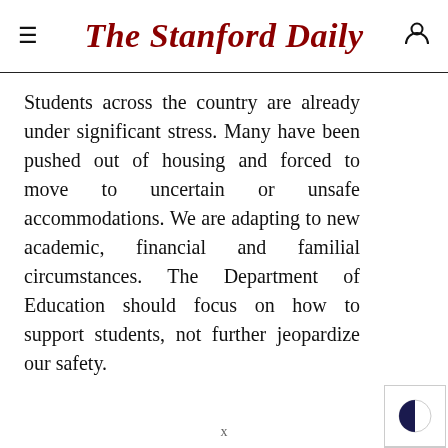The Stanford Daily
Students across the country are already under significant stress. Many have been pushed out of housing and forced to move to uncertain or unsafe accommodations. We are adapting to new academic, financial and familial circumstances. The Department of Education should focus on how to support students, not further jeopardize our safety.
x